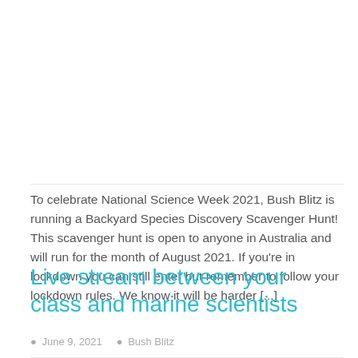To celebrate National Science Week 2021, Bush Blitz is running a Backyard Species Discovery Scavenger Hunt! This scavenger hunt is open to anyone in Australia and will run for the month of August 2021. If you're in lockdown you can still enter but remember to follow your lockdown rules. We know it will be harder [...]
Live stream between your class and marine scientists
June 9, 2021   Bush Blitz